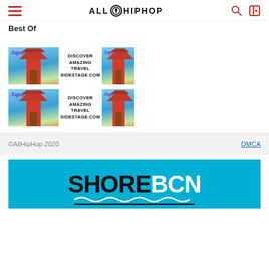ALLHIPHOP — Best Of
[Figure (infographic): Two identical ad banners side by side, each reading: Japan image + DISCOVER AMAZING TRAVEL SIDESTAGE.COM + Japan image. Repeated twice vertically.]
©AllHipHop 2020   DMCA
[Figure (logo): SHOREBCN logo on cyan/teal background with wave decoration]